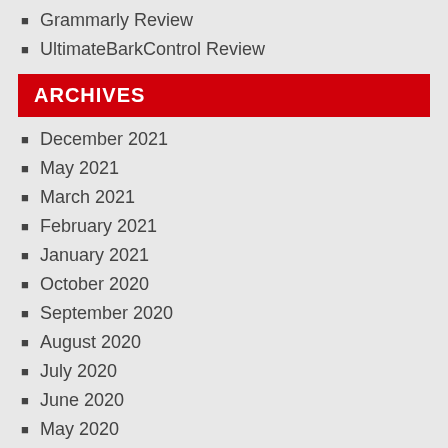Grammarly Review
UltimateBarkControl Review
ARCHIVES
December 2021
May 2021
March 2021
February 2021
January 2021
October 2020
September 2020
August 2020
July 2020
June 2020
May 2020
April 2020
February 2020
January 2020
December 2019